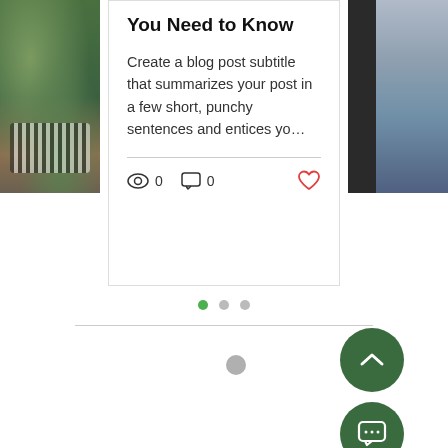[Figure (photo): Left partial photo showing nature/water scene with green foliage and an animal]
You Need to Know
Create a blog post subtitle that summarizes your post in a few short, punchy sentences and entices yo…
0 views  0 comments  like
[Figure (photo): Right partial photo showing a light/grey surface with a dark stripe]
[Figure (other): Carousel navigation dots: three dots, first one active (green), two grey]
[Figure (other): Loading spinner circle (grey)]
[Figure (other): Scroll-to-top button: dark green circle with white chevron up icon]
[Figure (other): Chat/comment button: dark green circle with white speech bubble icon]